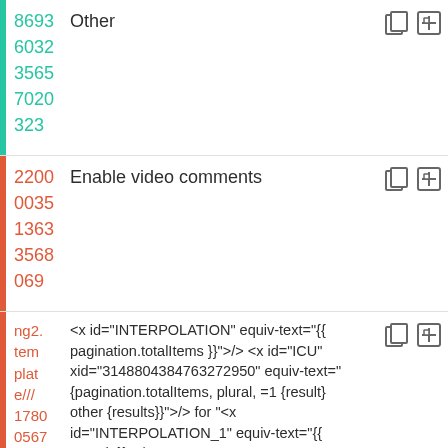8693 Other
6032
3565
7020
323
2200 Enable video comments
0035
1363
3568
069
ng2. <x id="INTERPOLATION" equiv-text="{{ pagination.totalItems }}"/> <x id="ICU" xid="3148804384763272950" equiv-text="{pagination.totalItems, plural, =1 {result} other {results}}"/> for "<x id="INTERPOLATION_1" equiv-text="{{ search }}"/>"
tem
plat
e///
1780
0567
1912
0519